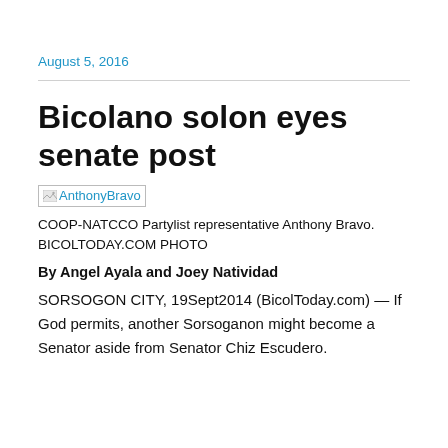August 5, 2016
Bicolano solon eyes senate post
[Figure (photo): Broken image placeholder for AnthonyBravo photo]
COOP-NATCCO Partylist representative Anthony Bravo. BICOLTODAY.COM PHOTO
By Angel Ayala and Joey Natividad
SORSOGON CITY, 19Sept2014 (BicolToday.com) — If God permits, another Sorsoganon might become a Senator aside from Senator Chiz Escudero.